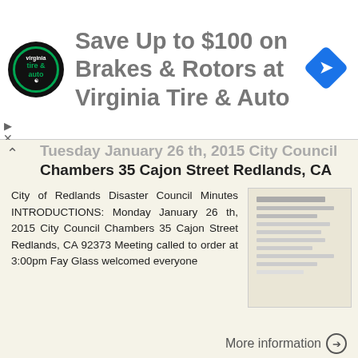[Figure (logo): Virginia Tire and Auto advertisement banner with logo and navigation icon]
Tuesday January 26 th, 2015 City Council Chambers 35 Cajon Street Redlands, CA
City of Redlands Disaster Council Minutes INTRODUCTIONS: Monday January 26 th, 2015 City Council Chambers 35 Cajon Street Redlands, CA 92373 Meeting called to order at 3:00pm Fay Glass welcomed everyone
More information →
DOWNLOAD OR READ : UNCLE ROCKY FIREMAN 5 PICNIC PDF EBOOK EPUB MOBI
DOWNLOAD OR READ : UNCLE ROCKY FIREMAN 5 PICNIC PDF EBOOK EPUB MOBI Page 1 Page 2 uncle rocky fireman 5 picnic uncle rocky fireman 5 pdf uncle rocky